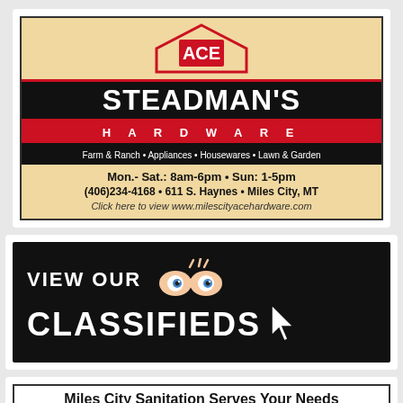[Figure (logo): Steadman's ACE Hardware advertisement with logo, hours (Mon.-Sat.: 8am-6pm, Sun: 1-5pm), phone (406)234-4168, address 611 S. Haynes, Miles City MT, and website www.milescityacehardware.com]
[Figure (infographic): Black banner advertisement reading VIEW OUR CLASSIFIEDS with cartoon eyes graphic and cursor arrow]
Miles City Sanitation Serves Your Needs